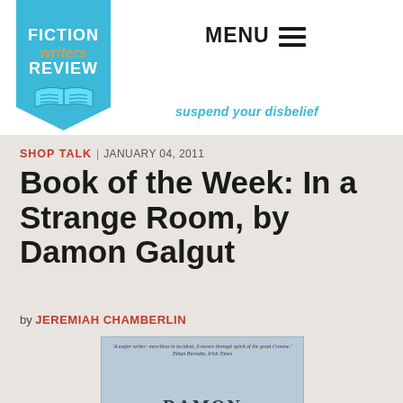[Figure (logo): Fiction Writers Review logo — blue bookmark-shaped badge with white text FICTION, gold italic 'writers', white text REVIEW, and an open book icon at base]
MENU ☰
suspend your disbelief
SHOP TALK | JANUARY 04, 2011
Book of the Week: In a Strange Room, by Damon Galgut
by JEREMIAH CHAMBERLIN
[Figure (photo): Book cover of 'In a Strange Room' by Damon Galgut — light blue cover with author name DAMON GALGUT in large serif letters and a blurb at top]